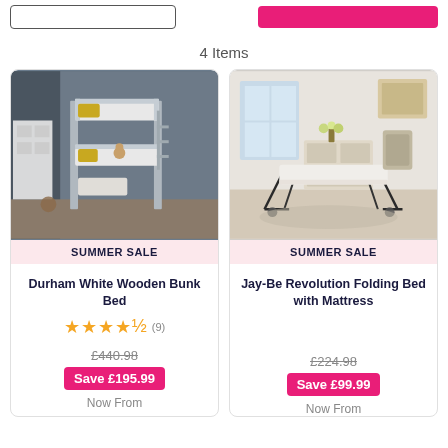4 Items
[Figure (photo): Bunk bed with grey wooden frame in a children's bedroom with grey walls and yellow pillows]
SUMMER SALE
Durham White Wooden Bunk Bed
★★★★★ (9)
£440.98
Save £195.99
Now From
[Figure (photo): Jay-Be folding bed with mattress in a modern bright living room]
SUMMER SALE
Jay-Be Revolution Folding Bed with Mattress
£224.98
Save £99.99
Now From